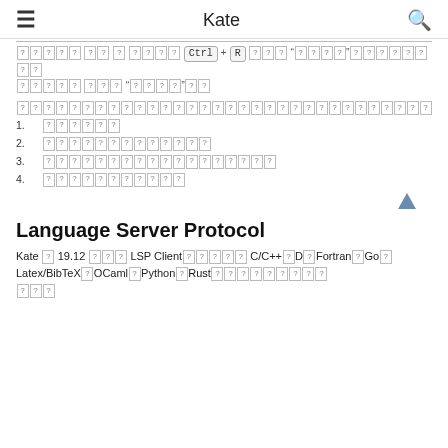Kate
[garbled text with Ctrl+R keyboard shortcut reference and quoted strings]
[garbled paragraph text]
[garbled item 1]
[garbled item 2]
[garbled item 3]
[garbled item 4]
Language Server Protocol
Kate ≥ 19.12 では LSP Clientが内蔵され C/C++、D、Fortran、Go、Latex/BibTeX、OCaml、Python、Rustなどの言語に対応しています